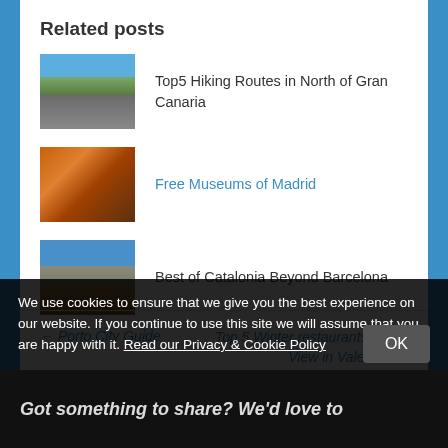Related posts
Top5 Hiking Routes in North of Gran Canaria
Free Museums of Madrid
Best of Catalonia Beyond Barcelona
← Porto City Guide
Top 5 Winter restaurants with a View in Valencia →
We use cookies to ensure that we give you the best experience on our website. If you continue to use this site we will assume that you are happy with it. Read our Privacy & Cookie Policy
OK
Got something to share? We'd love to